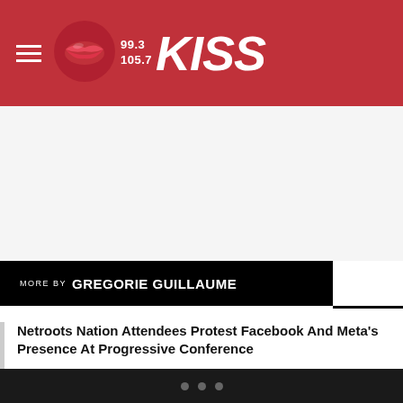99.3 / 105.7 KISS
MORE BY GREGORIE GUILLAUME
Netroots Nation Attendees Protest Facebook And Meta's Presence At Progressive Conference
EXCLUSIVE: Tank Says He’s Stepping Away From Music After His New Album “R&B Money” [WATCH]